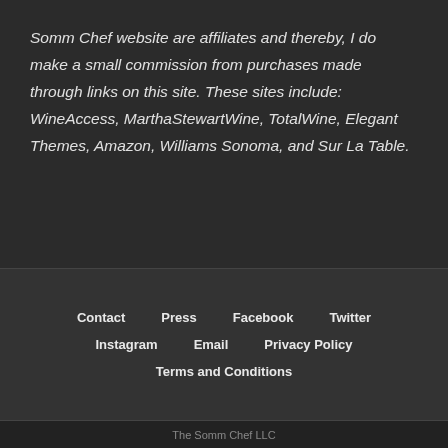Somm Chef website are affiliates and thereby, I do make a small commission from purchases made through links on this site. These sites include: WineAccess, MarthaStewartWine, TotalWine, Elegant Themes, Amazon, Williams Sonoma, and Sur La Table.
Contact  Press  Facebook  Twitter  Instagram  Email  Privacy Policy  Terms and Conditions
The Somm Chef LLC